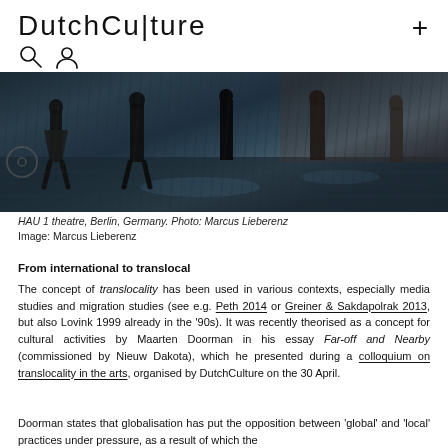DutchCulture
[Figure (photo): Street scene outside HAU 1 theatre, Berlin. Dark, wet cobblestones reflecting light. People walking. Photo by Marcus Lieberenz.]
HAU 1 theatre, Berlin, Germany. Photo: Marcus Lieberenz
Image: Marcus Lieberenz
From international to translocal
The concept of translocality has been used in various contexts, especially media studies and migration studies (see e.g. Peth 2014 or Greiner & Sakdapolrak 2013, but also Lovink 1999 already in the '90s). It was recently theorised as a concept for cultural activities by Maarten Doorman in his essay Far-off and Nearby (commissioned by Nieuw Dakota), which he presented during a colloquium on translocality in the arts, organised by DutchCulture on the 30 April.
Doorman states that globalisation has put the opposition between 'global' and 'local' practices under pressure, as a result of which the